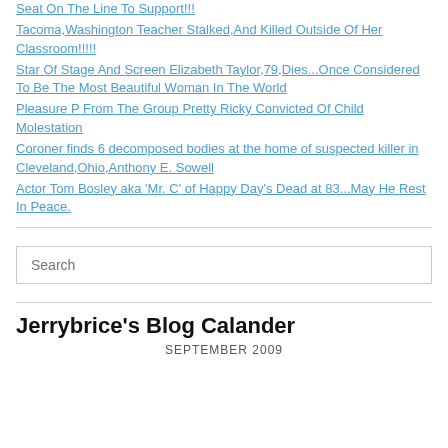Seat On The Line To Support!!!
Tacoma,Washington Teacher Stalked,And Killed Outside Of Her Classroom!!!!!
Star Of Stage And Screen Elizabeth Taylor,79,Dies...Once Considered To Be The Most Beautiful Woman In The World
Pleasure P From The Group Pretty Ricky Convicted Of Child Molestation
Coroner finds 6 decomposed bodies at the home of suspected killer in Cleveland,Ohio,Anthony E. Sowell
Actor Tom Bosley aka 'Mr. C' of Happy Day's Dead at 83...May He Rest In Peace.
Search
Jerrybrice's Blog Calander
SEPTEMBER 2009